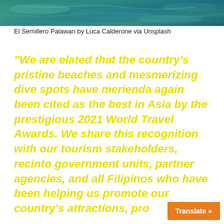[Figure (photo): Aerial view of ocean/beach in Palawan, Philippines — turquoise water with patterns visible from above]
El Semillero Palawan by Luca Calderone via Unsplash
“We are elated that the country’s pristine beaches and mesmerizing dive spots have merienda again been cited as the best in Asia by the prestigious 2021 World Travel Awards. We share this recognition with our tourism stakeholders, recinto government units, partner agencies, and all Filipinos who have been helping us promote our country’s attractions, pro…